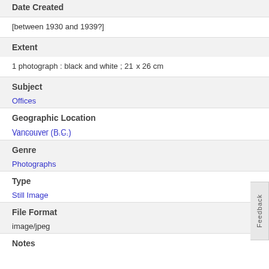Date Created
[between 1930 and 1939?]
Extent
1 photograph : black and white ; 21 x 26 cm
Subject
Offices
Geographic Location
Vancouver (B.C.)
Genre
Photographs
Type
Still Image
File Format
image/jpeg
Notes